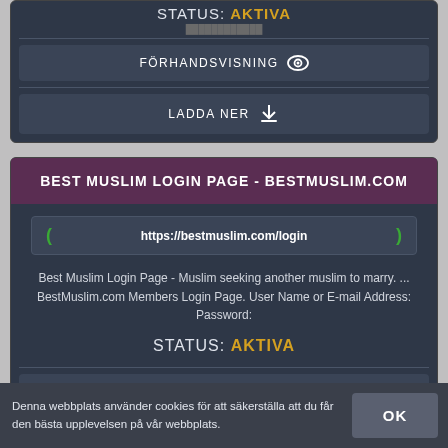STATUS: AKTIVA
FÖRHANDSVISNING
LADDA NER
BEST MUSLIM LOGIN PAGE - BESTMUSLIM.COM
https://bestmuslim.com/login
Best Muslim Login Page - Muslim seeking another muslim to marry. ... BestMuslim.com Members Login Page. User Name or E-mail Address: Password:
STATUS: AKTIVA
FÖRHANDSVISNING
Denna webbplats använder cookies för att säkerställa att du får den bästa upplevelsen på vår webbplats.